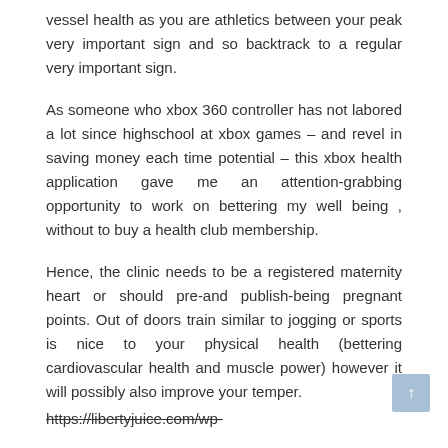vessel health as you are athletics between your peak very important sign and so backtrack to a regular very important sign.
As someone who xbox 360 controller has not labored a lot since highschool at xbox games – and revel in saving money each time potential – this xbox health application gave me an attention-grabbing opportunity to work on bettering my well being , without to buy a health club membership.
Hence, the clinic needs to be a registered maternity heart or should pre-and publish-being pregnant points. Out of doors train similar to jogging or sports is nice to your physical health (bettering cardiovascular health and muscle power) however it will possibly also improve your temper.
https://libertyjuice.com/wp-